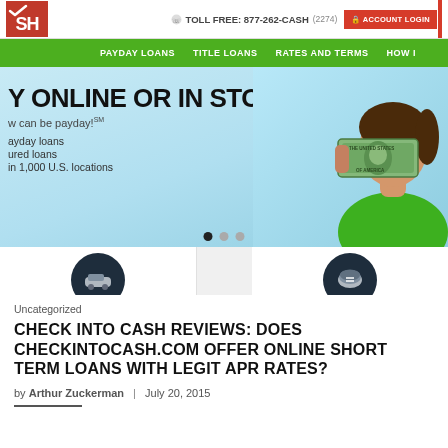SH | TOLL FREE: 877-262-CASH (2274) | ACCOUNT LOGIN
PAYDAY LOANS  TITLE LOANS  RATES AND TERMS  HOW
[Figure (screenshot): Check Into Cash website hero banner showing woman holding dollar bill, with text 'Y ONLINE OR IN STORE. w can be payday! ayday loans ured loans in 1,000 U.S. locations', carousel dots, Title Loan and Payday Loan cards]
Uncategorized
CHECK INTO CASH REVIEWS: DOES CHECKINTOCASH.COM OFFER ONLINE SHORT TERM LOANS WITH LEGIT APR RATES?
by Arthur Zuckerman  |  July 20, 2015